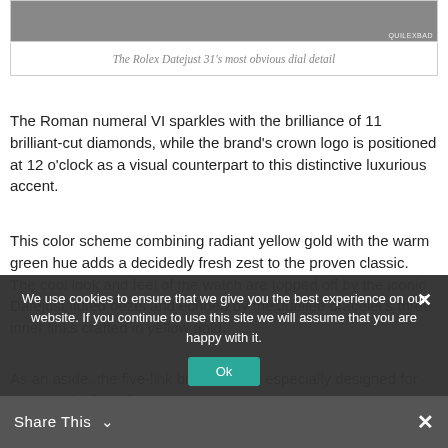[Figure (photo): Top portion of a Rolex Datejust 31 dial detail photo with watermark 'QUILEXBAD' in top right corner]
The Rolex Datejust 31's most obvious dial detail
The Roman numeral VI sparkles with the brilliance of 11 brilliant-cut diamonds, while the brand's crown logo is positioned at 12 o'clock as a visual counterpart to this distinctive luxurious accent.
This color scheme combining radiant yellow gold with the warm green hue adds a decidedly fresh zest to the proven classic. The cool look and feel of the watch are topped off by the iconic Datejust fluted bezel and echoed by the Jubilee bracelet's three inner links crafted in yellow gold.
As an aside, the five-link bracelet was especially designed for the launch of the first Datejust back in 1945, which also
We use cookies to ensure that we give you the best experience on our website. If you continue to use this site we will assume that you are happy with it.
Share This